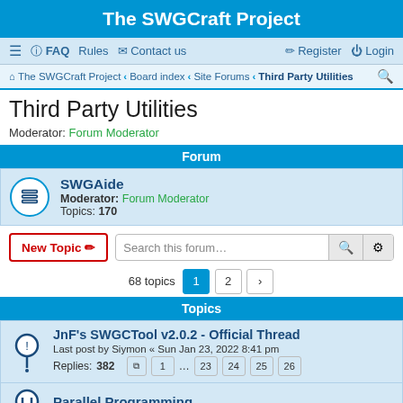The SWGCraft Project
FAQ  Rules  Contact us  Register  Login
The SWGCraft Project · Board index · Site Forums · Third Party Utilities
Third Party Utilities
Moderator: Forum Moderator
Forum
SWGAide
Moderator: Forum Moderator
Topics: 170
New Topic  Search this forum…
68 topics  1  2  ›
Topics
JnF's SWGCTool v2.0.2 - Official Thread
Last post by Siymon « Sun Jan 23, 2022 8:41 pm
Replies: 382
1 … 23 24 25 26
Parallel Programming